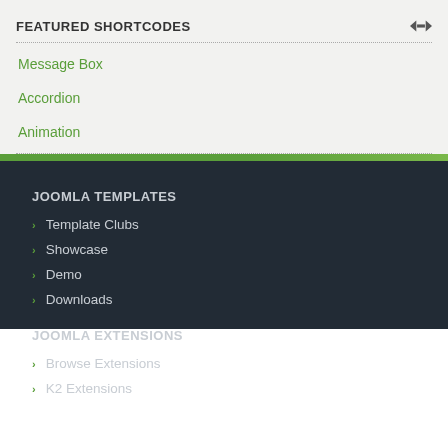FEATURED SHORTCODES
Message Box
Accordion
Animation
JOOMLA TEMPLATES
Template Clubs
Showcase
Demo
Downloads
JOOMLA EXTENSIONS
Browse Extensions
K2 Extensions